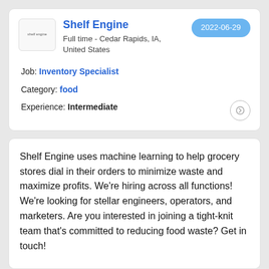Shelf Engine
Full time - Cedar Rapids, IA, United States
2022-06-29
Job: Inventory Specialist
Category: food
Experience: Intermediate
Shelf Engine uses machine learning to help grocery stores dial in their orders to minimize waste and maximize profits. We're hiring across all functions! We're looking for stellar engineers, operators, and marketers. Are you interested in joining a tight-knit team that's committed to reducing food waste? Get in touch!